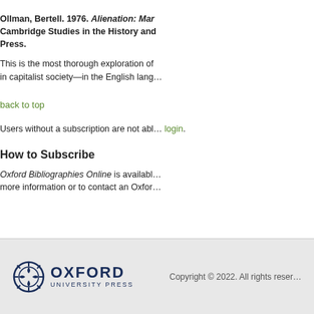Ollman, Bertell. 1976. Alienation: Mar... Cambridge Studies in the History and... Press.
This is the most thorough exploration of... in capitalist society—in the English lang...
back to top
Users without a subscription are not abl... login.
How to Subscribe
Oxford Bibliographies Online is availabl... more information or to contact an Oxfor...
[Figure (logo): Oxford University Press logo with circular emblem and text OXFORD UNIVERSITY PRESS]
Copyright © 2022. All rights reser...